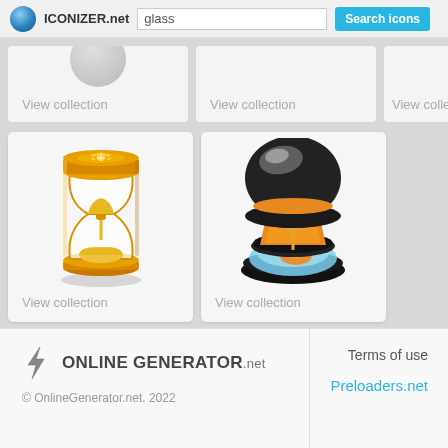ICONIZER.net  glass  Search icons
View collection
View collection
View collection
[Figure (illustration): Golden hourglass icon with orange star-burst top cap, golden sand falling inside, decorative orange-gold frame]
View collection
[Figure (illustration): Black and orange hourglass icon with glossy black top dome, orange middle, blue glowing sand pool at bottom on black base, tilted perspective]
View collection
ONLINE GENERATOR.net  © OnlineGenerator.net. 2022  Terms of use  Preloaders.net